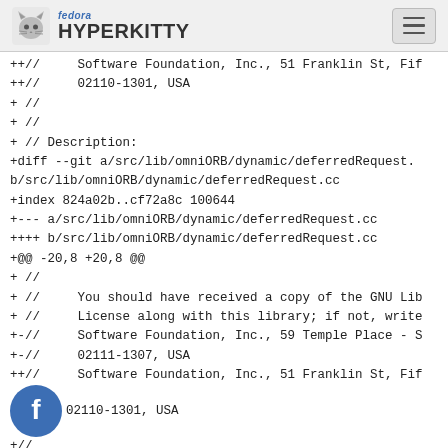fedora HYPERKITTY
++//     Software Foundation, Inc., 51 Franklin St, Fif
++//     02110-1301, USA
+ //
+ //
+ // Description:
+diff --git a/src/lib/omniORB/dynamic/deferredRequest. b/src/lib/omniORB/dynamic/deferredRequest.cc
+index 824a02b..cf72a8c 100644
+--- a/src/lib/omniORB/dynamic/deferredRequest.cc
++++ b/src/lib/omniORB/dynamic/deferredRequest.cc
+@@ -20,8 +20,8 @@
+ //
+ //     You should have received a copy of the GNU Lib
+ //     License along with this library; if not, write
+-//     Software Foundation, Inc., 59 Temple Place - S
+-//     02111-1307, USA
+++//     Software Foundation, Inc., 51 Franklin St, Fif
+++//     02110-1301, USA
+//